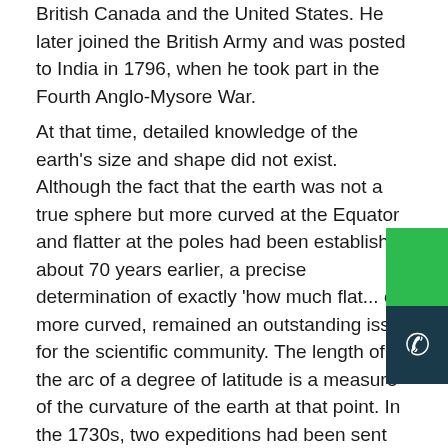British Canada and the United States. He later joined the British Army and was posted to India in 1796, when he took part in the Fourth Anglo-Mysore War.
At that time, detailed knowledge of the earth's size and shape did not exist. Although the fact that the earth was not a true sphere but more curved at the Equator and flatter at the poles had been established about 70 years earlier, a precise determination of exactly 'how much flat... or more curved, remained an outstanding issue for the scientific community. The length of the arc of a degree of latitude is a measure of the curvature of the earth at that point. In the 1730s, two expeditions had been sent out from France, one to the Equator in what is now Ecuador and the other to the Arctic Circle in Lapland, to measure the length of a degree of latitude by 'triangulating' north and south from a carefully measured baseline so as to cover